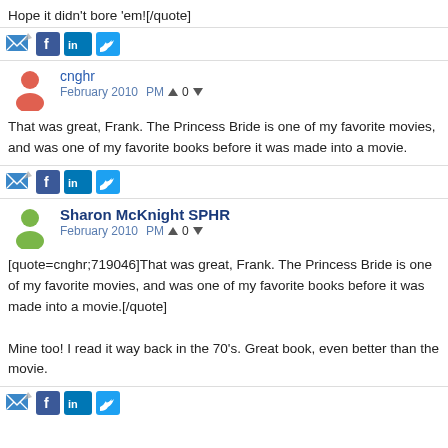Hope it didn't bore 'em![/quote]
[Figure (other): Social sharing icons: email, Facebook, LinkedIn, Twitter]
cnghr
February 2010  PM  0
That was great, Frank. The Princess Bride is one of my favorite movies, and was one of my favorite books before it was made into a movie.
[Figure (other): Social sharing icons: email, Facebook, LinkedIn, Twitter]
Sharon McKnight SPHR
February 2010  PM  0
[quote=cnghr;719046]That was great, Frank. The Princess Bride is one of my favorite movies, and was one of my favorite books before it was made into a movie.[/quote]

Mine too! I read it way back in the 70's. Great book, even better than the movie.
[Figure (other): Social sharing icons: email, Facebook, LinkedIn, Twitter]